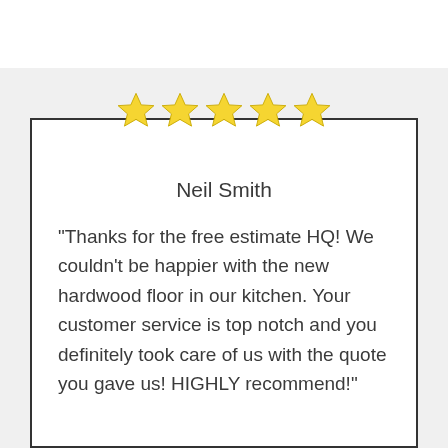[Figure (other): Five gold stars indicating a 5-star rating]
Neil Smith
"Thanks for the free estimate HQ! We couldn't be happier with the new hardwood floor in our kitchen. Your customer service is top notch and you definitely took care of us with the quote you gave us! HIGHLY recommend!"